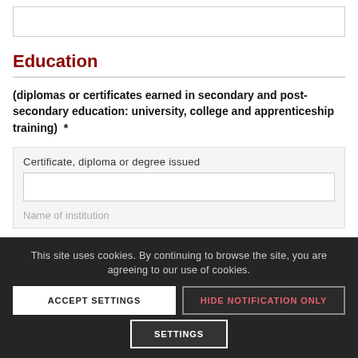Education
(diplomas or certificates earned in secondary and post-secondary education: university, college and apprenticeship training)  *
Certificate, diploma or degree issued
Name of institution
Field
From (month year)
This site uses cookies. By continuing to browse the site, you are agreeing to our use of cookies.
ACCEPT SETTINGS
HIDE NOTIFICATION ONLY
SETTINGS